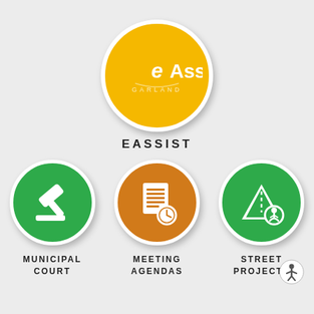[Figure (logo): eAssist Garland logo - gold circle with white text 'eAssist' and 'GARLAND' below]
EASSIST
[Figure (logo): Municipal Court icon - green circle with white gavel/hammer]
MUNICIPAL COURT
[Figure (logo): Meeting Agendas icon - orange/brown circle with white document and clock]
MEETING AGENDAS
[Figure (logo): Street Projects icon - green circle with white road/triangle and cone symbol]
STREET PROJECTS